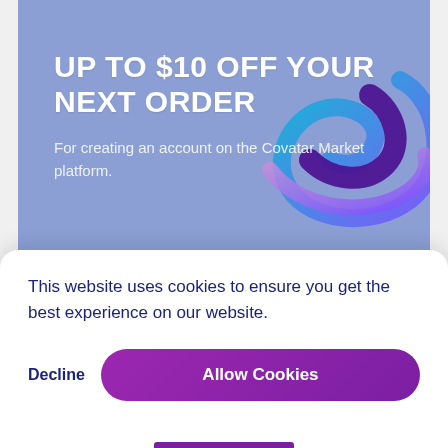[Figure (screenshot): Promotional card with blue-purple gradient background showing discount offer with decorative swirl graphic]
UP TO $10 OFF YOUR NEXT ORDER
For creating an account on the Covatar Market platform.
This website uses cookies to ensure you get the best experience on our website.
Decline
Allow Cookies